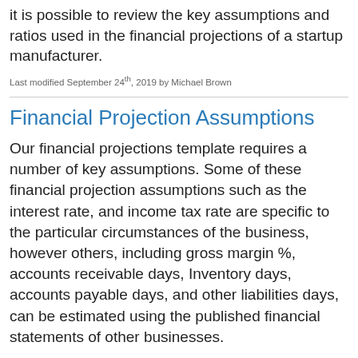it is possible to review the key assumptions and ratios used in the financial projections of a startup manufacturer.
Last modified September 24th, 2019 by Michael Brown
Financial Projection Assumptions
Our financial projections template requires a number of key assumptions. Some of these financial projection assumptions such as the interest rate, and income tax rate are specific to the particular circumstances of the business, however others, including gross margin %, accounts receivable days, Inventory days, accounts payable days, and other liabilities days, can be estimated using the published financial statements of other businesses.